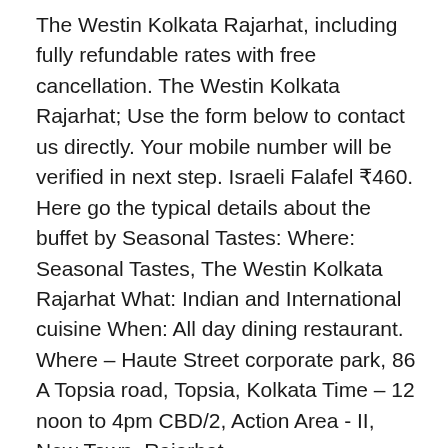The Westin Kolkata Rajarhat, including fully refundable rates with free cancellation. The Westin Kolkata Rajarhat; Use the form below to contact us directly. Your mobile number will be verified in next step. Israeli Falafel ₹460. Here go the typical details about the buffet by Seasonal Tastes: Where: Seasonal Tastes, The Westin Kolkata Rajarhat What: Indian and International cuisine When: All day dining restaurant. Where – Haute Street corporate park, 86 A Topsia road, Topsia, Kolkata Time – 12 noon to 4pm CBD/2, Action Area - II, New Town, Rajarhat, https://www.marriott.com/hotels/maps/travel/ccuwi-the-westin-kolkata-rajarhat/?directPageRequest=true. View deals for The Westin Kolkata Rajarhat, including fully refundable rates with free cancellation. Buffet breakfast, fee from 899.00 INR. Add Photos. Your review is being moderated and should be approved in 2-3 days. Guests enjoy the comfy beds. Enjoy the expansive